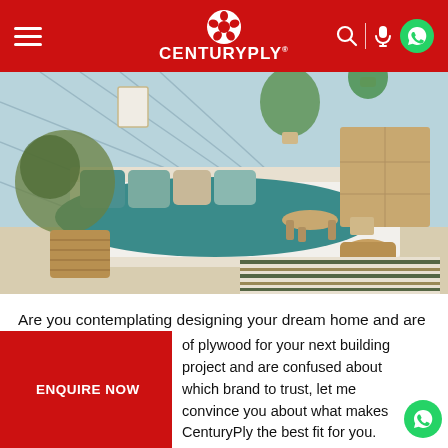CenturyPly
[Figure (photo): A styled bedroom interior with a bed featuring teal/green pillows and duvet, white sheets, a wooden dresser, plants, a woven basket, a small wooden stool, and a striped rug on a light floor. The back wall has a geometric diamond-pattern design in light blue/grey.]
Are you contemplating designing your dream home and are confused about which plywood to buy? Then you have landed on the right blog!
of plywood for your next building project and are confused about which brand to trust, let me convince you about what makes CenturyPly the best fit for you.